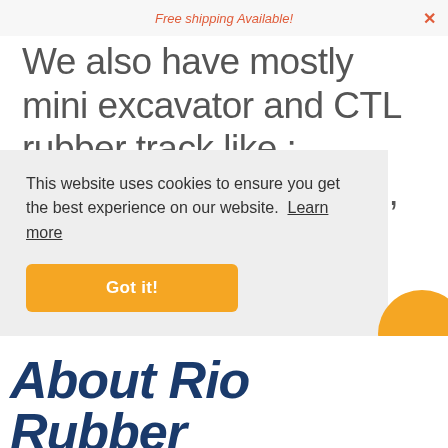Free shipping Available!
We also have mostly mini excavator and CTL rubber track like : BANDIT, CATERPILLAR, CASE, CAT-MITSUBISHI, DAEWOOD, DITCH WITCH, DYNAPAC, GEHL, GELMAX, IHI, ISEKI, IMEF, JCN, JOHN DEERE, KOBELCO, KOMATSU, KUBOTA. LEADER. LIBRA. NEW
This website uses cookies to ensure you get the best experience on our website. Learn more
Got it!
About Rio Rubber